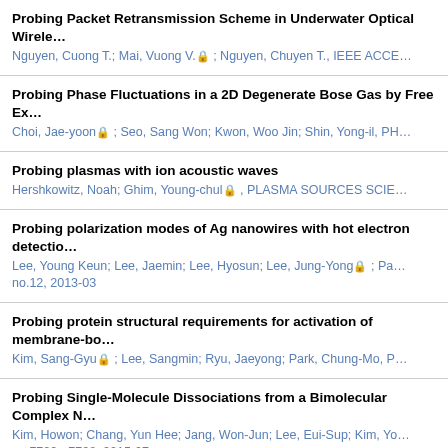Probing Packet Retransmission Scheme in Underwater Optical Wirele… | Nguyen, Cuong T.; Mai, Vuong V. 🔒 ; Nguyen, Chuyen T., IEEE ACCE…
Probing Phase Fluctuations in a 2D Degenerate Bose Gas by Free Ex… | Choi, Jae-yoon 🔒 ; Seo, Sang Won; Kwon, Woo Jin; Shin, Yong-il, PH…
Probing plasmas with ion acoustic waves | Hershkowitz, Noah; Ghim, Young-chul 🔒 , PLASMA SOURCES SCIE…
Probing polarization modes of Ag nanowires with hot electron detectio… | Lee, Young Keun; Lee, Jaemin; Lee, Hyosun; Lee, Jung-Yong 🔒 ; Pa… no.12, 2013-03
Probing protein structural requirements for activation of membrane-bo… | Kim, Sang-Gyu 🔒 ; Lee, Sangmin; Ryu, Jaeyong; Park, Chung-Mo, P…
Probing Single-Molecule Dissociations from a Bimolecular Complex N… | Kim, Howon; Chang, Yun Hee; Jang, Won-Jun; Lee, Eui-Sup; Kim, Yo… pp.7722 - 7728, 2015-07
Probing Surface Chemistry at an Atomic Level: Decomposition of 1-Pr… and DFT | Jeon, Seokmin; Kim, Minho; Doak, Peter W.; Atwater, Harry A.; Kim, H…